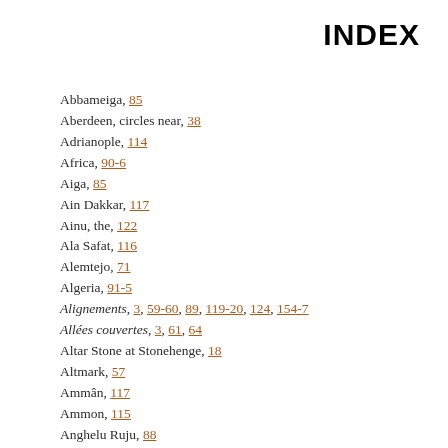INDEX
Abbameiga, 85
Aberdeen, circles near, 38
Adrianople, 114
Africa, 90-6
Aiga, 85
Ain Dakkar, 117
Ainu, the, 122
Ala Safat, 116
Alemtejo, 71
Algeria, 91-5
Alignements, 3, 59-60, 89, 119-20, 124, 154-7
Allées couvertes, 3, 61, 64
Altar Stone at Stonehenge, 18
Altmark, 57
Ammân, 117
Ammon, 115
Anghelu Ruju, 88
Anglesey, 27, 29
Annaclochmullin, 145
Antequera, 70
Arbor Low, 25
Arcturus, 50, 51